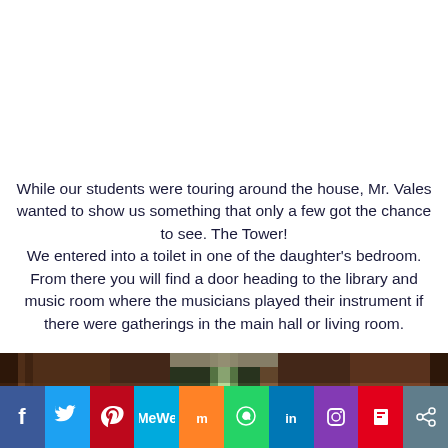While our students were touring around the house, Mr. Vales wanted to show us something that only a few got the chance to see. The Tower! We entered into a toilet in one of the daughter's bedroom. From there you will find a door heading to the library and music room where the musicians played their instrument if there were gatherings in the main hall or living room.
[Figure (photo): Interior photo of a dark wooden room/corridor, showing wooden paneling, a green-lit opening or door, and stacked books or shelves visible.]
Social sharing bar: Facebook, Twitter, Pinterest, MeWe, Mix, WhatsApp, LinkedIn, Instagram, Flipboard, Share